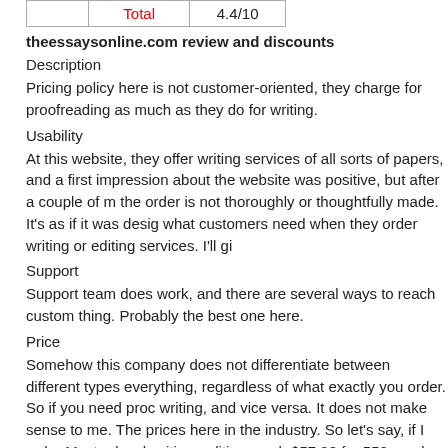|  | Total | 4.4/10 |
| --- | --- | --- |
|  | Total | 4.4/10 |
theessaysonline.com review and discounts
Description
Pricing policy here is not customer-oriented, they charge for proofreading as much as they do for writing.
Usability
At this website, they offer writing services of all sorts of papers, and a first impression about the website was positive, but after a couple of minutes the order is not thoroughly or thoughtfully made. It's as if it was designed without what customers need when they order writing or editing services. I'll gi
Support
Support team does work, and there are several ways to reach customers. Good thing. Probably the best one here.
Price
Somehow this company does not differentiate between different types of everything, regardless of what exactly you order. So if you need proofreading writing, and vice versa. It does not make sense to me. The prices here are some of the highest in the industry. So let's say, if I order Master level writing, editing or wh $57.98 for 550 words. How is that? Paying that much for writing is fine